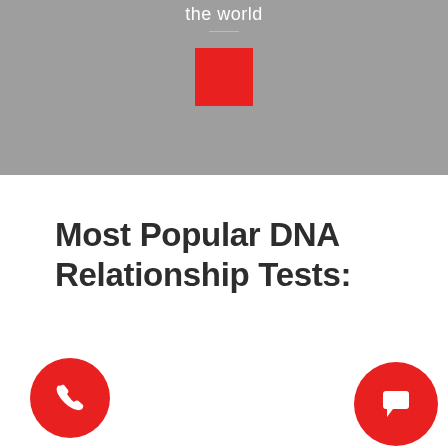the world
[Figure (illustration): Red square logo/icon centered on gray background]
Most Popular DNA Relationship Tests:
[Figure (infographic): Red circular phone call button icon at bottom left]
[Figure (infographic): Red circular chat/message button icon at bottom right]